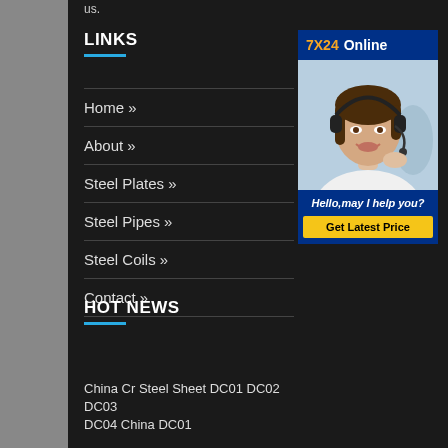us.
LINKS
Home »
About »
Steel Plates »
Steel Pipes »
Steel Coils »
Contact »
[Figure (photo): Customer service representative wearing headset, smiling, with '7X24 Online' header, 'Hello,may I help you?' message, and 'Get Latest Price' button]
HOT NEWS
China Cr Steel Sheet DC01 DC02 DC03 DC04 China DC01